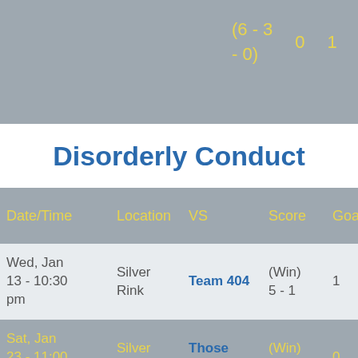| Date/Time | Location | VS | Score | Goals | A |
| --- | --- | --- | --- | --- | --- |
| Wed, Jan 13 - 10:30 pm | Silver Rink | Team 404 | (Win) 5 - 1 | 1 | 1 |
| Sat, Jan 23 - 11:00 am | Silver Rink | Those Guys | (Win) 3 - 2 | 0 | 1 |
| Sat, Jan 30 - 1:15... | Gold... | Beach... | (Win)... |  |  |
Disorderly Conduct